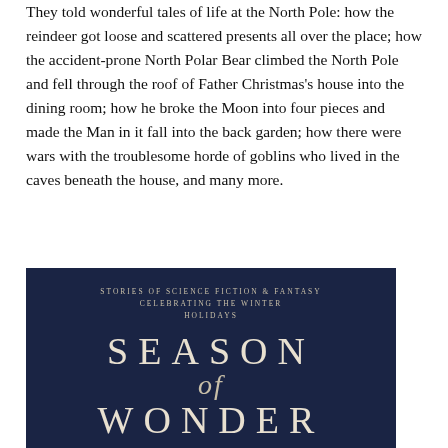They told wonderful tales of life at the North Pole: how the reindeer got loose and scattered presents all over the place; how the accident-prone North Polar Bear climbed the North Pole and fell through the roof of Father Christmas's house into the dining room; how he broke the Moon into four pieces and made the Man in it fall into the back garden; how there were wars with the troublesome horde of goblins who lived in the caves beneath the house, and many more.
[Figure (illustration): Book cover for 'Season of Wonder' — dark navy blue background with subtitle 'Stories of Science Fiction & Fantasy Celebrating the Winter Holidays' in small spaced caps, and the title 'Season of Wonder' in large serif letters.]